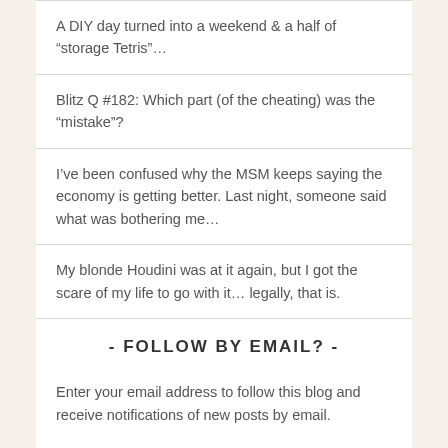A DIY day turned into a weekend & a half of “storage Tetris”…
Blitz Q #182: Which part (of the cheating) was the “mistake”?
I’ve been confused why the MSM keeps saying the economy is getting better. Last night, someone said what was bothering me…
My blonde Houdini was at it again, but I got the scare of my life to go with it… legally, that is.
- FOLLOW BY EMAIL? -
Enter your email address to follow this blog and receive notifications of new posts by email.